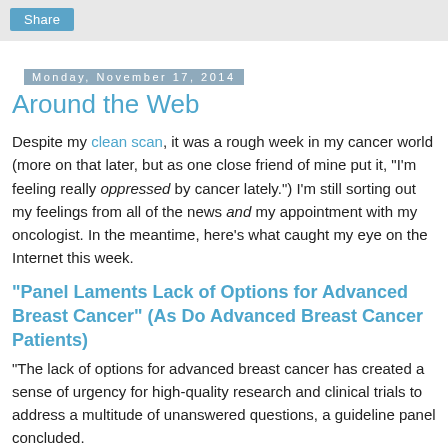Share
Monday, November 17, 2014
Around the Web
Despite my clean scan, it was a rough week in my cancer world (more on that later, but as one close friend of mine put it, "I'm feeling really oppressed by cancer lately.") I'm still sorting out my feelings from all of the news and my appointment with my oncologist. In the meantime, here's what caught my eye on the Internet this week.
"Panel Laments Lack of Options for Advanced Breast Cancer" (As Do Advanced Breast Cancer Patients)
"The lack of options for advanced breast cancer has created a sense of urgency for high-quality research and clinical trials to address a multitude of unanswered questions, a guideline panel concluded.
Though treatment advances have extended the duration of